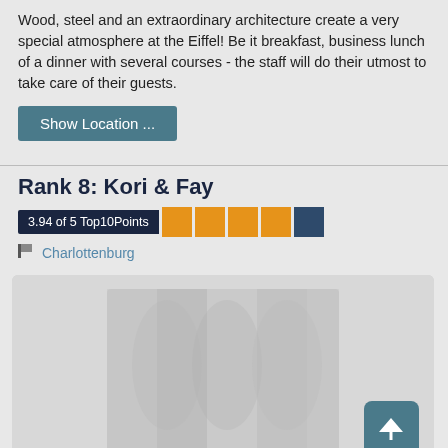Wood, steel and an extraordinary architecture create a very special atmosphere at the Eiffel! Be it breakfast, business lunch of a dinner with several courses - the staff will do their utmost to take care of their guests.
Show Location ...
Rank 8: Kori & Fay
3.94 of 5 Top10Points
Charlottenburg
[Figure (photo): Blurred/placeholder restaurant interior image for Kori & Fay with a back-to-top button in the bottom right corner]